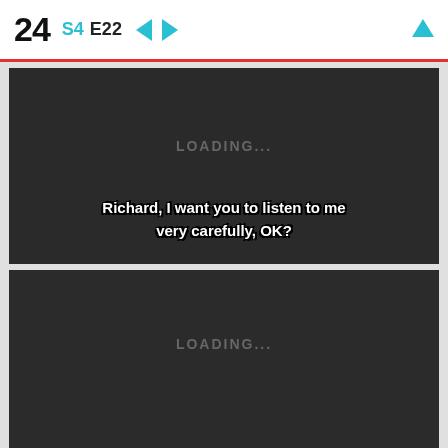24  S4  E22  ← →  ↑
[Figure (screenshot): Dark video player panel showing LOADING... text in center, with subtitle text 'Richard, I want you to listen to me very carefully, OK?' at the bottom]
[Figure (screenshot): Dark video player panel showing LOADING... text in center, partially visible]